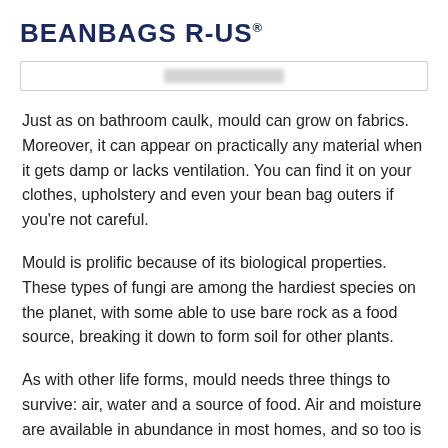BEANBAGS R-US®
[Figure (other): Search bar with blurred content, bordered input field]
Just as on bathroom caulk, mould can grow on fabrics. Moreover, it can appear on practically any material when it gets damp or lacks ventilation. You can find it on your clothes, upholstery and even your bean bag outers if you're not careful.
Mould is prolific because of its biological properties. These types of fungi are among the hardiest species on the planet, with some able to use bare rock as a food source, breaking it down to form soil for other plants.
As with other life forms, mould needs three things to survive: air, water and a source of food. Air and moisture are available in abundance in most homes, and so too is food in the form of organic fabrics. Without it the mould...